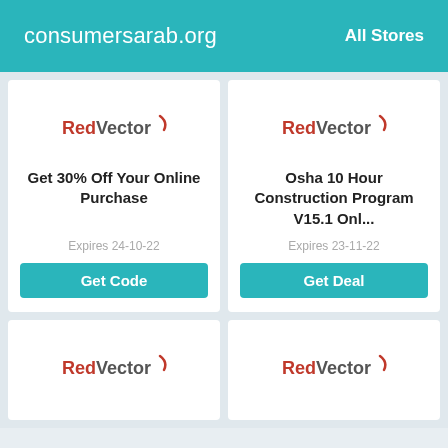consumersarab.org   All Stores
[Figure (logo): RedVector logo - red swoosh with RedVector text]
Get 30% Off Your Online Purchase
Expires 24-10-22
Get Code
[Figure (logo): RedVector logo - red swoosh with RedVector text]
Osha 10 Hour Construction Program V15.1 Onl...
Expires 23-11-22
Get Deal
[Figure (logo): RedVector logo - red swoosh with RedVector text]
[Figure (logo): RedVector logo - red swoosh with RedVector text]